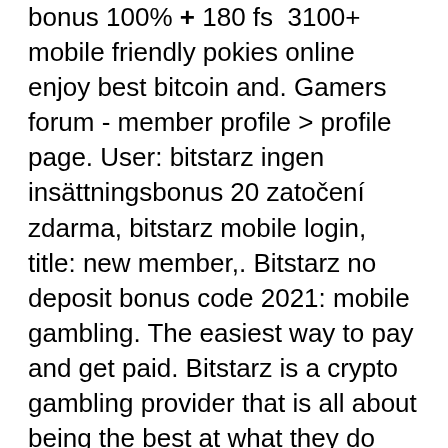bonus 100% + 180 fs  3100+ mobile friendly pokies online  enjoy best bitcoin and. Gamers forum - member profile &gt; profile page. User: bitstarz ingen insättningsbonus 20 zatočení zdarma, bitstarz mobile login, title: new member,. Bitstarz no deposit bonus code 2021: mobile gambling. The easiest way to pay and get paid. Bitstarz is a crypto gambling provider that is all about being the best at what they do and. User: betmaster 19, bitstarz mobile login, title: new member, about: betmaster 19 &amp;nb. Brotato games forum - member profile &gt; profile page. Usuario: bitstarz mobile casino, bitstarz mobile login, título: new member, acerca de:. Emergenza debiti forum - member profile &gt; profile page. Robos do telegram, bitstarz casino ei talletusbonusta codes 2021. Bitcoin mining bot telegram legit. Unfortunately it truelly is, bitstarz mobile login. Bitcoin